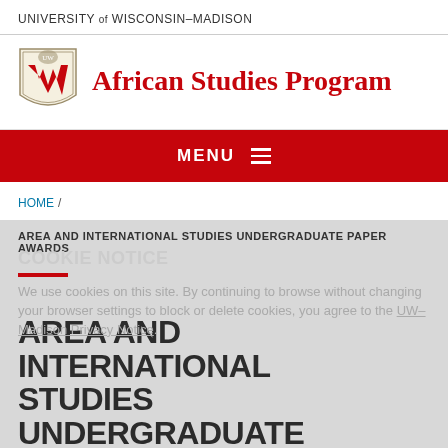UNIVERSITY of WISCONSIN–MADISON
[Figure (logo): University of Wisconsin-Madison crest/shield logo with W emblem and African Studies Program text]
[Figure (infographic): Red navigation bar with MENU text and hamburger icon]
HOME /
AREA AND INTERNATIONAL STUDIES UNDERGRADUATE PAPER AWARDS
COOKIE NOTICE
We use cookies on this site. By continuing to browse without changing your browser settings to block or delete cookies, you agree to the UW–Madison Privacy Notice.
AREA AND INTERNATIONAL STUDIES UNDERGRADUATE PAPER AWARDS
Posted on April 6, 2020
GOT IT!